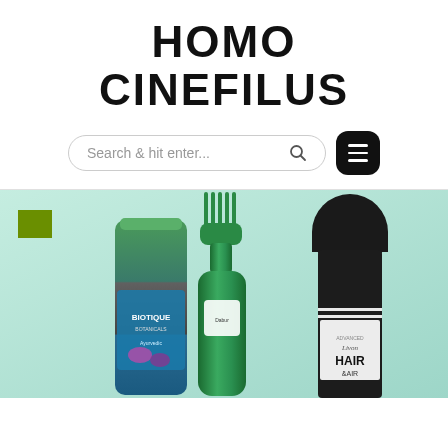HOMO CINEFILUS
[Figure (screenshot): Search bar with placeholder text 'Search & hit enter...' and a magnifying glass icon, alongside a dark rounded square menu button with three horizontal lines.]
[Figure (photo): Three hair care products displayed against a teal/mint gradient background: a Biotique Botanicals Ayurvedic hair product spray can (green/grey), a green glass bottle with a comb/applicator top, and a black Advanced Livon Hair product bottle. A small olive-green square decorative element is in the top-left corner.]